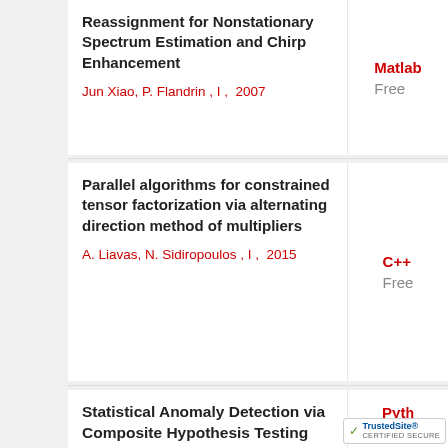Reassignment for Nonstationary Spectrum Estimation and Chirp Enhancement
Jun Xiao, P. Flandrin , I ,  2007
Matlab
Free
Parallel algorithms for constrained tensor factorization via alternating direction method of multipliers
A. Liavas, N. Sidiropoulos , I ,  2015
C++
Free
Statistical Anomaly Detection via Composite Hypothesis Testing for
Pyth
[Figure (logo): TrustedSite CERTIFIED SECURE badge with green checkmark]